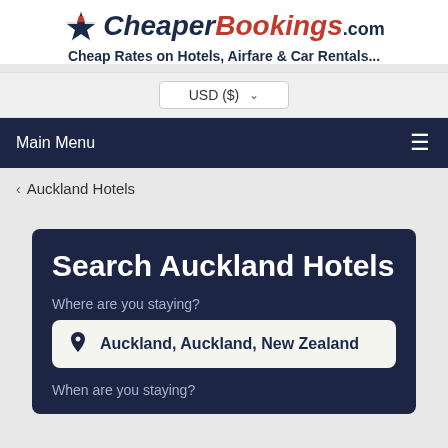[Figure (logo): CheaperBookings.com logo with airplane icon, italic text with Cheaper in dark navy and Bookings in dark red]
Cheap Rates on Hotels, Airfare & Car Rentals...
USD ($)
Main Menu
< Auckland Hotels
Search Auckland Hotels
Where are you staying?
Auckland, Auckland, New Zealand
When are you staying?